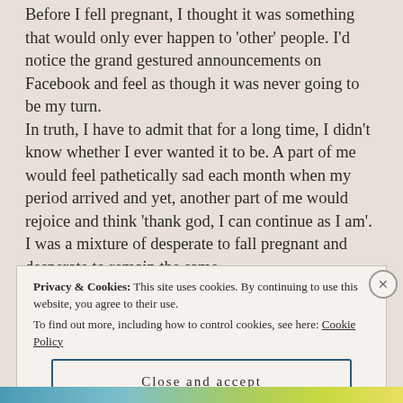Before I fell pregnant, I thought it was something that would only ever happen to 'other' people. I'd notice the grand gestured announcements on Facebook and feel as though it was never going to be my turn.
In truth, I have to admit that for a long time, I didn't know whether I ever wanted it to be. A part of me would feel pathetically sad each month when my period arrived and yet, another part of me would rejoice and think 'thank god, I can continue as I am'. I was a mixture of desperate to fall pregnant and desperate to remain the same.
Privacy & Cookies: This site uses cookies. By continuing to use this website, you agree to their use.
To find out more, including how to control cookies, see here: Cookie Policy
Close and accept